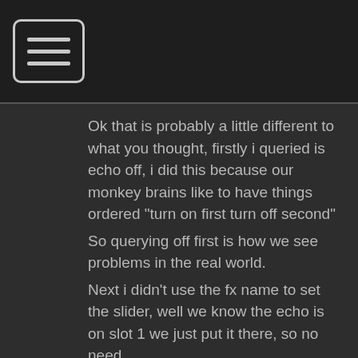[Figure (other): Dark header bar with a hamburger menu icon (three horizontal lines inside a rounded rectangle)]
Ok that is probably a little different to what you thought, firstly i queried is echo off, i did this because our monkey brains like to have things ordered "turn on first turn off second"
So querying off first is how we see problems in the real world.
Next i didn't use the fx name to set the slider, well we know the echo is on slot 1 we just put it there, so no need.
3rd thing to turn the fx off i used the fx name not the slot, why?
Well as we've seen in the previous lesson, it may be on slot or another or none, while using the slot number will work if you keep everything simple, forever. As your mapping grows so will the complexity. We just want echo off and no matter what changes happen in the future, if echo is on, this button will turn it off.